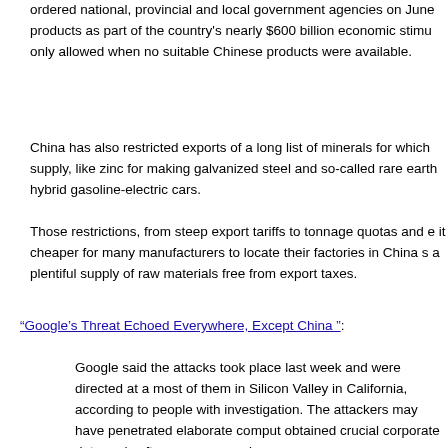ordered national, provincial and local government agencies on June products as part of the country's nearly $600 billion economic stimu only allowed when no suitable Chinese products were available.
China has also restricted exports of a long list of minerals for which supply, like zinc for making galvanized steel and so-called rare earth hybrid gasoline-electric cars.
Those restrictions, from steep export tariffs to tonnage quotas and e it cheaper for many manufacturers to locate their factories in China s a plentiful supply of raw materials free from export taxes.
“Google’s Threat Echoed Everywhere, Except China ”:
Google said the attacks took place last week and were directed at a most of them in Silicon Valley in California, according to people with investigation. The attackers may have penetrated elaborate comput obtained crucial corporate data and software source codes…
Adobe Systems, announced that it, too, had endured a cyberattack.
In the past year, Google has been increasingly constricted by the Ch after briefly blocking access nationwide to its main search engine ar the government forced the company to disable a function that lets th